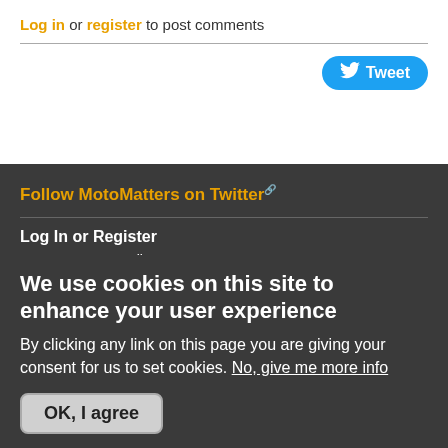Log in or register to post comments
[Figure (other): Tweet button (Twitter/X share button, blue rounded pill shape with bird icon and 'Tweet' text)]
Follow MotoMatters on Twitter
Log In or Register
Username or e-mail *
Password *
We use cookies on this site to enhance your user experience
By clicking any link on this page you are giving your consent for us to set cookies. No, give me more info
OK, I agree